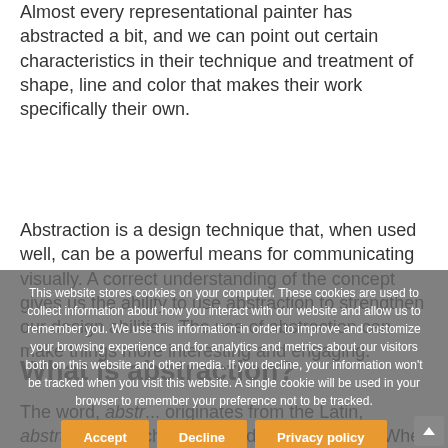Almost every representational painter has abstracted a bit, and we can point out certain characteristics in their technique and treatment of shape, line and color that makes their work specifically their own.
Abstraction is a design technique that, when used well, can be a powerful means for communicating visually. A correct understanding of the concept gives us the ability to use abstraction to strengthen our design abilities. The use of abstraction can make things more interesting and engaging.
What is abstraction?
The word, abstr... originates from the Latin, abstrahere, which means to draw away from. When we abstract, we begin with s...g...e yet remain connected to it.
This website stores cookies on your computer. These cookies are used to collect information about how you interact with our website and allow us to remember you. We use this information in order to improve and customize your browsing experience and for analytics and metrics about our visitors both on this website and other media. If you decline, your information won't be tracked when you visit this website. A single cookie will be used in your browser to remember your preference not to be tracked.